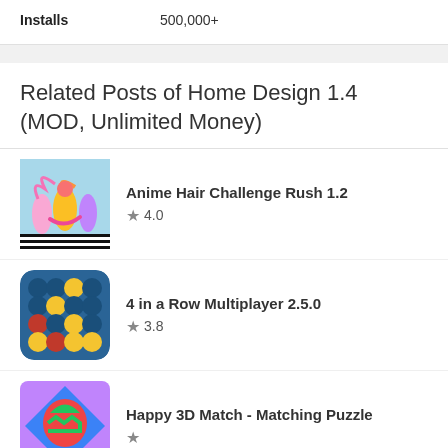|  |  |
| --- | --- |
| Installs | 500,000+ |
Related Posts of Home Design 1.4 (MOD, Unlimited Money)
Anime Hair Challenge Rush 1.2 ★ 4.0
4 in a Row Multiplayer 2.5.0 ★ 3.8
Happy 3D Match - Matching Puzzle ★